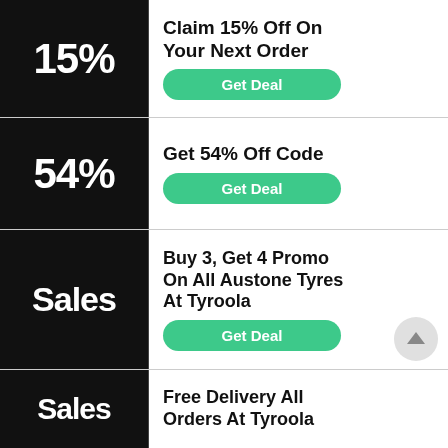15%
Claim 15% Off On Your Next Order
Get Deal
54%
Get 54% Off Code
Get Deal
Sales
Buy 3, Get 4 Promo On All Austone Tyres At Tyroola
Get Deal
Sales
Free Delivery All Orders At Tyroola